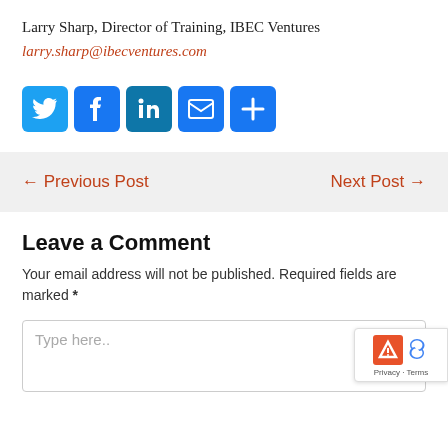Larry Sharp, Director of Training, IBEC Ventures
larry.sharp@ibecventures.com
[Figure (infographic): Social media share icons: Twitter (blue bird), Facebook (blue f), LinkedIn (blue in), Email (blue envelope), More (blue plus sign)]
← Previous Post
Next Post →
Leave a Comment
Your email address will not be published. Required fields are marked *
Type here..